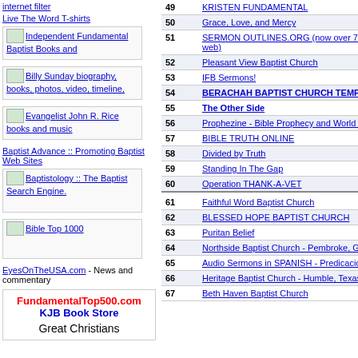internet filter
Live The Word T-shirts
[Figure (other): Small image thumbnail with text: Independent Fundamental Baptist Books and]
[Figure (other): Small image thumbnail with text: Billy Sunday biography, books, photos, video, timeline,]
[Figure (other): Small image thumbnail with text: Evangelist John R. Rice books and music]
Baptist Advance :: Promoting Baptist Web Sites
[Figure (other): Small image thumbnail with text: Baptistology :: The Baptist Search Engine.]
[Figure (other): Small image thumbnail with text: Bible Top 1000]
EyesOnTheUSA.com - News and commentary
[Figure (other): Promotional box: FundamentalTop500.com KJB Book Store Great Christians]
| # | Site | In | Out |
| --- | --- | --- | --- |
| 49 | KRISTEN FUNDAMENTAL | 1 | 3 |
| 50 | Grace, Love, and Mercy | 1 | 0 |
| 51 | SERMON OUTLINES.ORG (now over 7300 expository alliterated sermons - largest on the web) | 1 | 6 |
| 52 | Pleasant View Baptist Church | 1 | 23 |
| 53 | IFB Sermons! | 1 | 4 |
| 54 | BERACHAH BAPTIST CHURCH TEMPLE GA <<OUTLINES & PREACHING>> **NEW | 1 | 16 |
| 55 | The Other Side | 1 | 11 |
| 56 | Prophezine - Bible Prophecy and World Events | 1 | 0 |
| 57 | BIBLE TRUTH ONLINE | 1 | 2 |
| 58 | Divided by Truth | 1 | 82 |
| 59 | Standing In The Gap | 1 | 2 |
| 60 | Operation THANK-A-VET | 1 | 1 |
| 61 | Faithful Word Baptist Church | 1 | 4 |
| 62 | BLESSED HOPE BAPTIST CHURCH | 1 | 12 |
| 63 | Puritan Belief | 1 | 5 |
| 64 | Northside Baptist Church - Pembroke, GA | 1 | 2 |
| 65 | Audio Sermons in SPANISH - Predicaciones en EspaÃ±ol en MP3 | 1 | 3 |
| 66 | Heritage Baptist Church - Humble, Texas | 1 | 9 |
| 67 | Beth Haven Baptist Church | 1 | 1 |